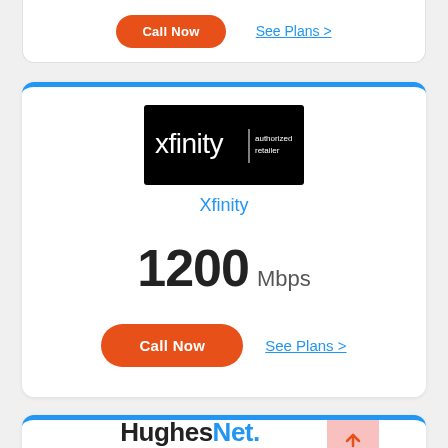[Figure (other): Partial card with Call Now button and See Plans link]
[Figure (other): Xfinity authorized retailer card showing 1200 Mbps speed with Call Now button and See Plans link]
[Figure (other): HughesNet authorized retailer card partially visible at bottom of page]